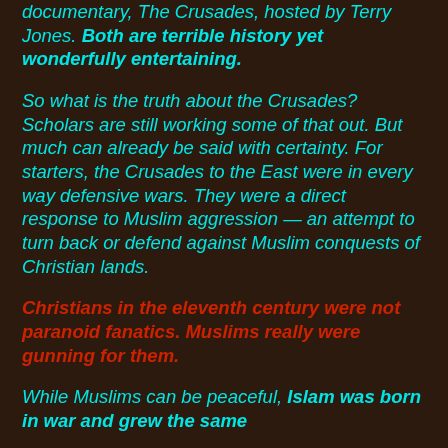documentary, The Crusades, hosted by Terry Jones. Both are terrible history yet wonderfully entertaining.
So what is the truth about the Crusades? Scholars are still working some of that out. But much can already be said with certainty. For starters, the Crusades to the East were in every way defensive wars. They were a direct response to Muslim aggression — an attempt to turn back or defend against Muslim conquests of Christian lands.
Christians in the eleventh century were not paranoid fanatics. Muslims really were gunning for them.
While Muslims can be peaceful, Islam was born in war and grew the same